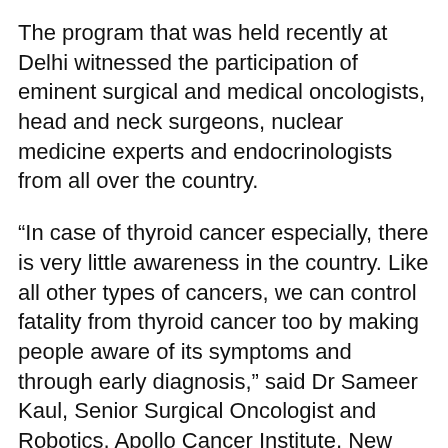The program that was held recently at Delhi witnessed the participation of eminent surgical and medical oncologists, head and neck surgeons, nuclear medicine experts and endocrinologists from all over the country.
“In case of thyroid cancer especially, there is very little awareness in the country. Like all other types of cancers, we can control fatality from thyroid cancer too by making people aware of its symptoms and through early diagnosis,” said Dr Sameer Kaul, Senior Surgical Oncologist and Robotics, Apollo Cancer Institute, New Delhi.
According to Indian Council of Medical Research